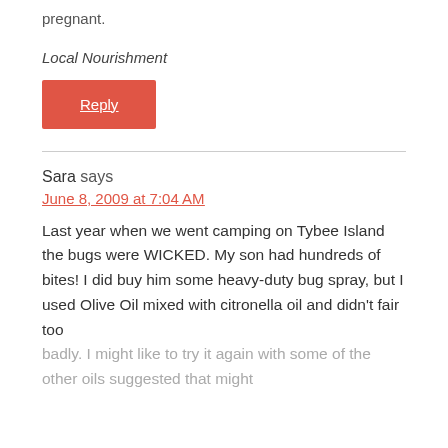pennyroyal if you are or could become pregnant.
Local Nourishment
Reply
Sara says
June 8, 2009 at 7:04 AM
Last year when we went camping on Tybee Island the bugs were WICKED. My son had hundreds of bites! I did buy him some heavy-duty bug spray, but I used Olive Oil mixed with citronella oil and didn't fair too badly. I might like to try it again with some of the other oils suggested that might